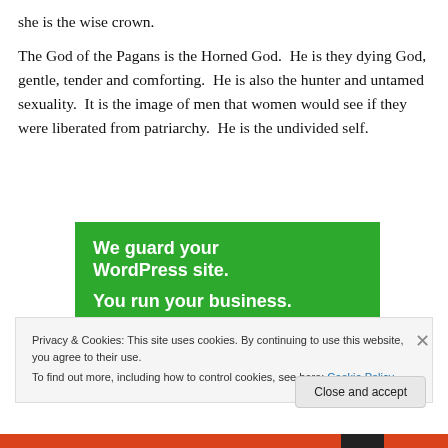she is the wise crown.
The God of the Pagans is the Horned God.  He is they dying God, gentle, tender and comforting.  He is also the hunter and untamed sexuality.  It is the image of men that women would see if they were liberated from patriarchy.  He is the undivided self.
[Figure (other): Green advertisement banner reading 'We guard your WordPress site. You run your business.']
Privacy & Cookies: This site uses cookies. By continuing to use this website, you agree to their use.
To find out more, including how to control cookies, see here: Cookie Policy
Close and accept